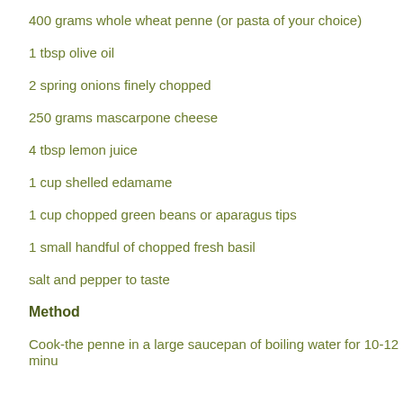400 grams whole wheat penne (or pasta of your choice)
1 tbsp olive oil
2 spring onions finely chopped
250 grams mascarpone cheese
4 tbsp lemon juice
1 cup shelled edamame
1 cup chopped green beans or aparagus tips
1 small handful of chopped fresh basil
salt and pepper to taste
Method
Cook-the penne in a large saucepan of boiling water for 10-12 minu...